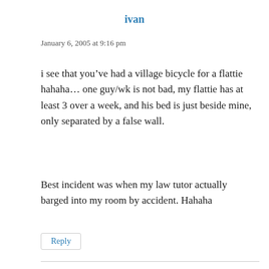ivan
January 6, 2005 at 9:16 pm
i see that you’ve had a village bicycle for a flattie hahaha… one guy/wk is not bad, my flattie has at least 3 over a week, and his bed is just beside mine, only separated by a false wall.
Best incident was when my law tutor actually barged into my room by accident. Hahaha
Reply
ivan
January 7, 2005 at 5:16 pm